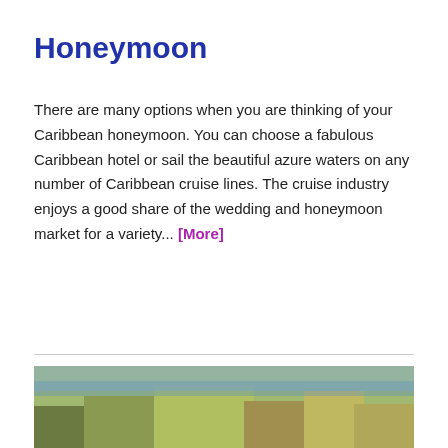Honeymoon
There are many options when you are thinking of your Caribbean honeymoon. You can choose a fabulous Caribbean hotel or sail the beautiful azure waters on any number of Caribbean cruise lines. The cruise industry enjoys a good share of the wedding and honeymoon market for a variety... [More]
[Figure (photo): Partial image of a tropical/Caribbean scene at the bottom of the page]